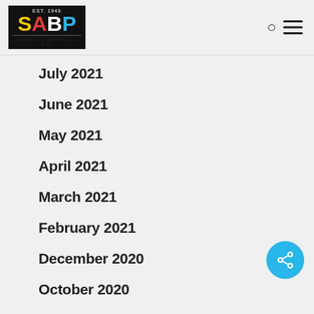SABP – Embee Companies S.A. logo with navigation icons
July 2021
June 2021
May 2021
April 2021
March 2021
February 2021
December 2020
October 2020
September 2020
August 2020
July 2020